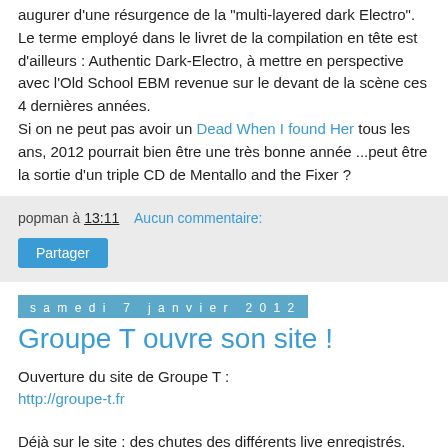augurer d'une résurgence de la "multi-layered dark Electro". Le terme employé dans le livret de la compilation en tête est d'ailleurs : Authentic Dark-Electro, à mettre en perspective avec l'Old School EBM revenue sur le devant de la scène ces 4 dernières années.
Si on ne peut pas avoir un Dead When I found Her tous les ans, 2012 pourrait bien être une très bonne année ...peut être la sortie d'un triple CD de Mentallo and the Fixer ?
popman à 13:11    Aucun commentaire:
Partager
samedi 7 janvier 2012
Groupe T ouvre son site !
Ouverture du site de Groupe T :
http://groupe-t.fr
Déjà sur le site : des chutes des différents live enregistrés.
Bientôt sur le site : un nouvel album.